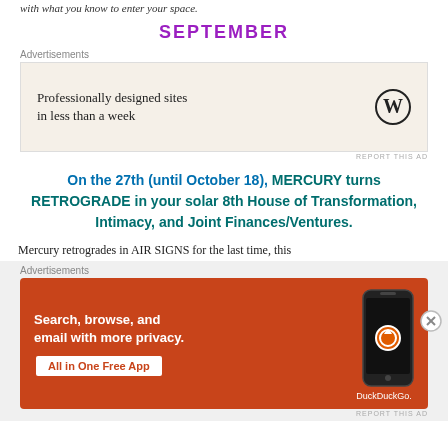with what you know to enter your space.
SEPTEMBER
[Figure (other): WordPress advertisement: Professionally designed sites in less than a week]
On the 27th (until October 18), MERCURY turns RETROGRADE in your solar 8th House of Transformation, Intimacy, and Joint Finances/Ventures.
Mercury retrogrades in AIR SIGNS for the last time, this
[Figure (other): DuckDuckGo advertisement: Search, browse, and email with more privacy. All in One Free App.]